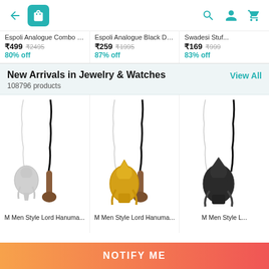Navigation bar with back arrow, shopping bag icon, search, account, and cart icons
Espoli Analogue Combo P... ₹499 ₹2495 80% off
Espoli Analogue Black Dia... ₹259 ₹1995 87% off
Swadesi Stuf... ₹169 ₹999 83% off
New Arrivals in Jewelry & Watches
108796 products
View All
[Figure (photo): Three product cards showing Lord Hanuman pendant necklaces: silver, gold, and dark/black colored pendants with chains]
M Men Style Lord Hanuma...
M Men Style Lord Hanuma...
M Men Style L...
NOTIFY ME